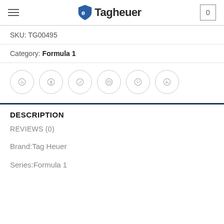eTagheuer — navigation header with hamburger menu and cart
SKU: TG00495
Category: Formula 1
[Figure (other): Social sharing icons row: WhatsApp, Facebook, Twitter, Email, Pinterest, LinkedIn — all circular outlined icons in light grey]
DESCRIPTION
REVIEWS (0)
Brand:Tag Heuer
Series:Formula 1